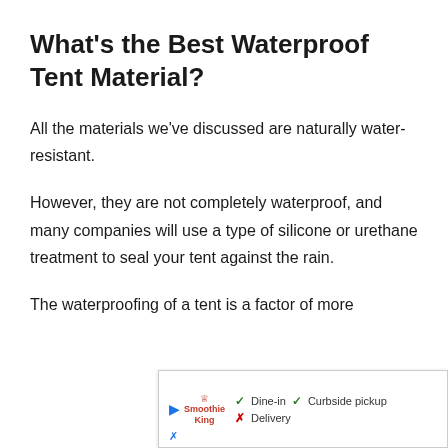What's the Best Waterproof Tent Material?
All the materials we've discussed are naturally water-resistant.
However, they are not completely waterproof, and many companies will use a type of silicone or urethane treatment to seal your tent against the rain.
The waterproofing of a tent is a factor of more
[Figure (screenshot): Advertisement overlay for Smoothie King showing Dine-in, Curbside pickup available and Delivery not available]